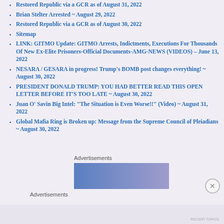Restored Republic via a GCR as of August 31, 2022
Brian Stelter Arrested ~ August 29, 2022
Restored Republic via a GCR as of August 30, 2022
Sitemap
LINK: GITMO Update: GITMO Arrests, Indictments, Executions For Thousands Of New Ex-Elite Prisoners-Official Documents-AMG-NEWS (VIDEOS) – June 13, 2022
NESARA / GESARA in progress! Trump's BOMB post changes everything! ~ August 30, 2022
PRESIDENT DONALD TRUMP: YOU HAD BETTER READ THIS OPEN LETTER BEFORE IT'S TOO LATE ~ August 30, 2022
Juan O' Savin Big Intel: "The Situation is Even Worse!!" (Video) ~ August 31, 2022
Global Mafia Ring is Broken up: Message from the Supreme Council of Pleiadians ~ August 30, 2022
Advertisements
[Figure (other): Advertisement banner box with blue-purple gradient]
Advertisements
RECENT TOPICS